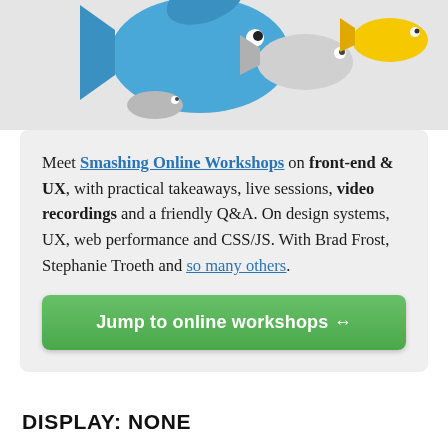[Figure (illustration): Colorful fish illustration (blue fish, white/grey fish, yellow fish) partially visible at the top of a grey banner area.]
Meet Smashing Online Workshops on front-end & UX, with practical takeaways, live sessions, video recordings and a friendly Q&A. On design systems, UX, web performance and CSS/JS. With Brad Frost, Stephanie Troeth and so many others.
Jump to online workshops ↔
DISPLAY: NONE